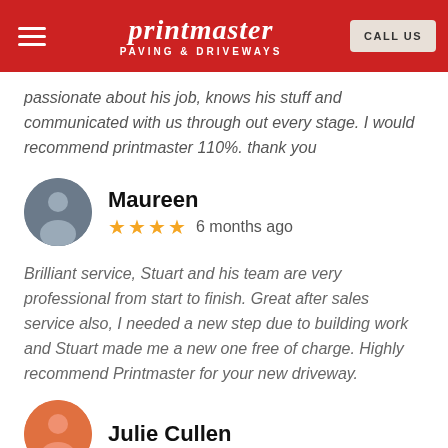[Figure (logo): Printmaster Paving & Driveways logo in white italic script on red header bar, with hamburger menu icon left and CALL US button right]
passionate about his job, knows his stuff and communicated with us through out every stage. I would recommend printmaster 110%. thank you
Maureen — 4 stars — 6 months ago
Brilliant service, Stuart and his team are very professional from start to finish. Great after sales service also, I needed a new step due to building work and Stuart made me a new one free of charge. Highly recommend Printmaster for your new driveway.
Julie Cullen